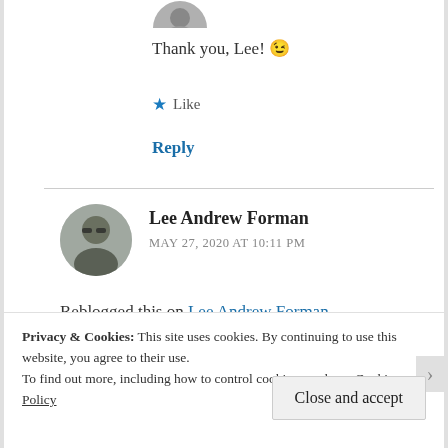[Figure (photo): Partial circular avatar photo at top of page, cropped]
Thank you, Lee! 😉
★ Like
Reply
[Figure (photo): Circular avatar photo of Lee Andrew Forman, a man with sunglasses and dark shirt]
Lee Andrew Forman
MAY 27, 2020 AT 10:11 PM
Reblogged this on Lee Andrew Forman.
Privacy & Cookies: This site uses cookies. By continuing to use this website, you agree to their use.
To find out more, including how to control cookies, see here: Cookie Policy
Close and accept